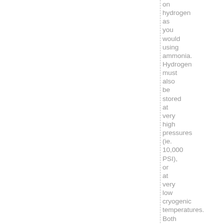on hydrogen as you would using ammonia. Hydrogen must also be stored at very high pressures (ie. 10,000 PSI), or at very low cryogenic temperatures. Both high pressure storage and cryogenic